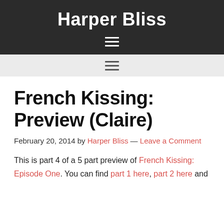Harper Bliss
French Kissing: Preview (Claire)
February 20, 2014 by Harper Bliss — Leave a Comment
This is part 4 of a 5 part preview of French Kissing: Episode One. You can find part 1 here, part 2 here and part 3 here.